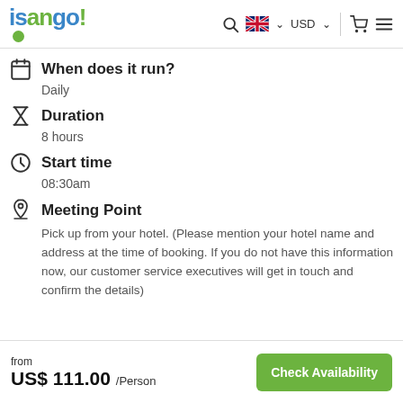[Figure (logo): isango! travel booking website logo with blue and green text]
When does it run?
Daily
Duration
8 hours
Start time
08:30am
Meeting Point
Pick up from your hotel. (Please mention your hotel name and address at the time of booking. If you do not have this information now, our customer service executives will get in touch and confirm the details)
from US$ 111.00 /Person   Check Availability